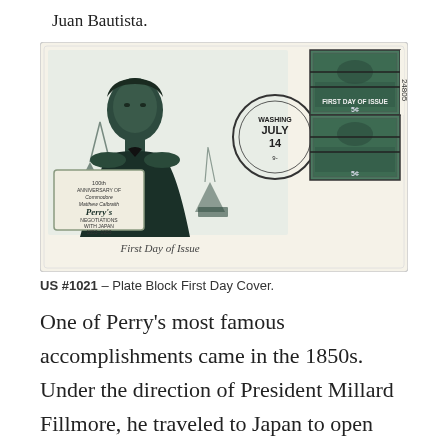Juan Bautista.
[Figure (photo): US #1021 Plate Block First Day Cover featuring Commodore Matthew Calbraith Perry, showing a portrait illustration of Perry in naval uniform, ships in background, a postmark reading WASHINGTON JULY 14 FIRST DAY OF ISSUE, and a block of four 5-cent green stamps. Cursive text reads 'First Day of Issue'.]
US #1021 – Plate Block First Day Cover.
One of Perry's most famous accomplishments came in the 1850s. Under the direction of President Millard Fillmore, he traveled to Japan to open relations. On July 8, 1853, Perry led four steamships into Tokyo